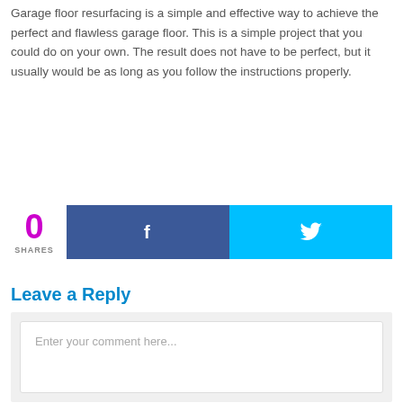Garage floor resurfacing is a simple and effective way to achieve the perfect and flawless garage floor. This is a simple project that you could do on your own. The result does not have to be perfect, but it usually would be as long as you follow the instructions properly.
[Figure (infographic): Social share bar showing 0 shares, a Facebook share button (dark blue with 'f' icon), and a Twitter share button (cyan with bird icon)]
Leave a Reply
Enter your comment here...